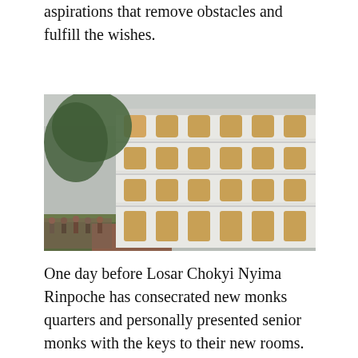aspirations that remove obstacles and fulfill the wishes.
[Figure (photo): Exterior view of a large white multi-story building, likely a monastery or monks quarters. The building has multiple floors with arched balconies and orange/brown wooden doors and windows. People can be seen gathering on the ground level in front of the building. Trees are visible in the background on the left.]
One day before Losar Chokyi Nyima Rinpoche has consecrated new monks quarters and personally presented senior monks with the keys to their new rooms. For several previous years Dharma Ratna shop, along with many other sponsors, has been making annual